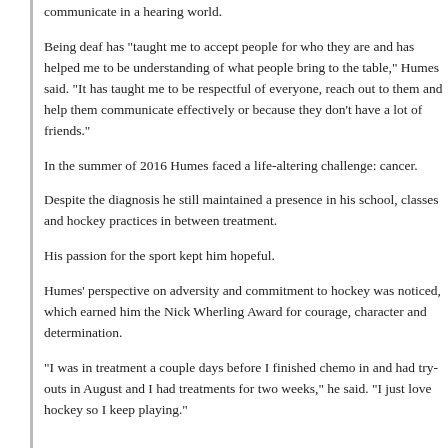communicate in a hearing world.
Being deaf has “taught me to accept people for who they are and has helped me to be understanding of what people bring to the table,” Humes said. “It has taught me to be respectful of everyone, reach out to them and help them communicate effectively or because they don’t have a lot of friends.”
In the summer of 2016 Humes faced a life-altering challenge: cancer.
Despite the diagnosis he still maintained a presence in his school, classes and hockey practices in between treatment.
His passion for the sport kept him hopeful.
Humes’ perspective on adversity and commitment to hockey was noticed, which earned him the Nick Wherling Award for courage, character and determination.
“I was in treatment a couple days before I finished chemo in and had try-outs in August and I had treatments for two weeks,” he said. “I just love hockey so I keep playing.”